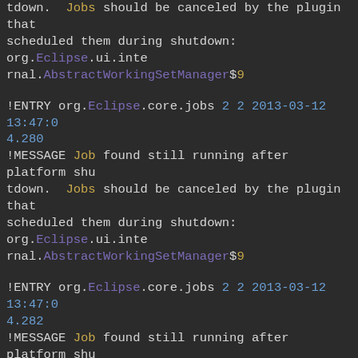tdown.  Jobs should be canceled by the plugin that scheduled them during shutdown: org.Eclipse.ui.internal.AbstractWorkingSetManager$9
!ENTRY org.Eclipse.core.jobs 2 2 2013-03-12 13:47:04.280
!MESSAGE Job found still running after platform shutdown.  Jobs should be canceled by the plugin that scheduled them during shutdown: org.Eclipse.ui.internal.AbstractWorkingSetManager$9
!ENTRY org.Eclipse.core.jobs 2 2 2013-03-12 13:47:04.282
!MESSAGE Job found still running after platform shutdown.  Jobs should be canceled by the plugin that scheduled them during shutdown: org.Eclipse.ui.internal.AbstractWorkingSetManager$9
!ENTRY org.Eclipse.core.jobs 2 2 2013-03-12 13:47:04.283
!MESSAGE Job found still running after platform shutdown.  Jobs should be canceled by the plugin that scheduled them during shutdown.